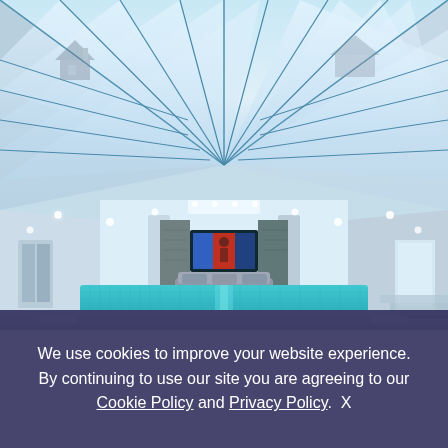[Figure (photo): Interior photograph of a modern open-plan living room with a large glass atrium / skylight roof structure showing blue steel framing, white ceilings with recessed spotlights, a teal/blue mosaic water feature counter in the foreground, a sofa, TV mounted between stone pillars, and views of rooftops through the skylight panels.]
We use cookies to improve your website experience. By continuing to use our site you are agreeing to our Cookie Policy and Privacy Policy.  X